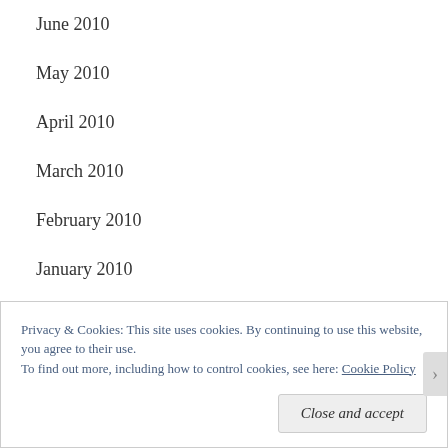June 2010
May 2010
April 2010
March 2010
February 2010
January 2010
December 2009
November 2009
October 2009
Privacy & Cookies: This site uses cookies. By continuing to use this website, you agree to their use.
To find out more, including how to control cookies, see here: Cookie Policy